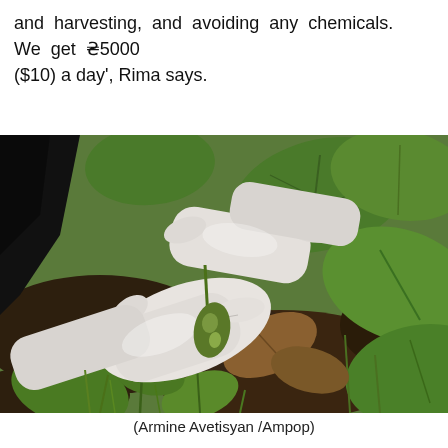and harvesting, and avoiding any chemicals. We get ₴5000 ($10) a day', Rima says.
[Figure (photo): Close-up photo of two gloved hands (white latex/rubber gloves) harvesting or handling green plants and leaves in a garden or field, with soil and various green leaves visible.]
(Armine Avetisyan /Ampop)